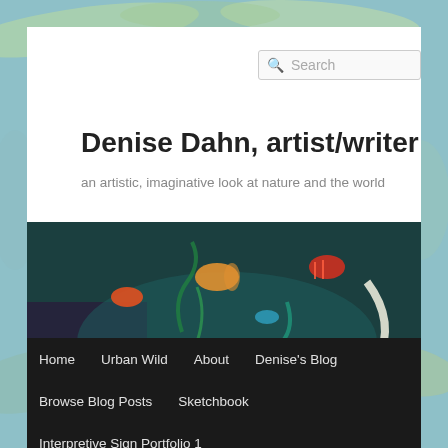Search
Denise Dahn, artist/writer
an artistic, imaginative look at nature and the world
[Figure (illustration): Colorful underwater ocean scene painting with fish, starfish, coral, eels, and sea life by Denise Dahn]
Home
Urban Wild
About
Denise's Blog
Browse Blog Posts
Sketchbook
Interpretive Sign Portfolio 1
Interpretive Sign Portfolio 2
Clients